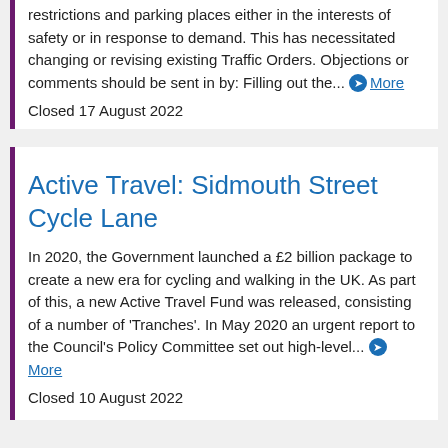restrictions and parking places either in the interests of safety or in response to demand. This has necessitated changing or revising existing Traffic Orders. Objections or comments should be sent in by: Filling out the... More
Closed 17 August 2022
Active Travel: Sidmouth Street Cycle Lane
In 2020, the Government launched a £2 billion package to create a new era for cycling and walking in the UK. As part of this, a new Active Travel Fund was released, consisting of a number of 'Tranches'. In May 2020 an urgent report to the Council's Policy Committee set out high-level... More
Closed 10 August 2022